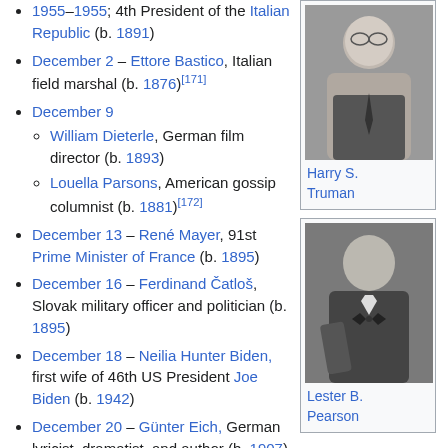1953–1955; 4th President of the Italian Republic (b. 1891)
December 2 – Ettore Bastico, Italian field marshal (b. 1876)[171]
December 9
William Dieterle, German film director (b. 1893)
Louella Parsons, American gossip columnist (b. 1881)[172]
December 13 – René Mayer, 91st Prime Minister of France (b. 1895)
December 16 – Ferdinand Čatloš, Slovak military officer and politician (b. 1895)
December 18 – Neilia Hunter Biden, first wife of 46th US President Joe Biden (b. 1942)
December 20 – Günter Eich, German lyricist, dramatist, and author (b. 1907)
December 21 – Paul Hausser, German Waffen SS general and commander (b. 1880)
[Figure (photo): Black and white portrait photograph of Harry S. Truman]
Harry S. Truman
[Figure (photo): Black and white portrait photograph of Lester B. Pearson]
Lester B. Pearson